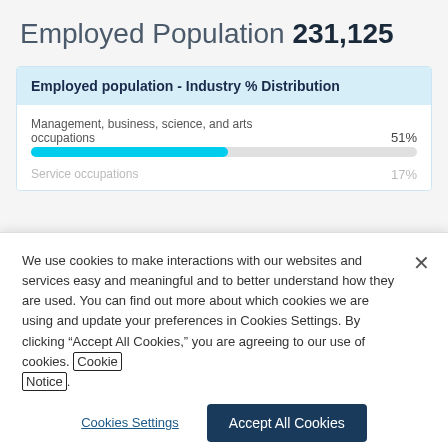Employed Population 231,125
Employed population - Industry % Distribution
Management, business, science, and arts occupations 51%
Service occupations 17%
We use cookies to make interactions with our websites and services easy and meaningful and to better understand how they are used. You can find out more about which cookies we are using and update your preferences in Cookies Settings. By clicking “Accept All Cookies,” you are agreeing to our use of cookies. Cookie Notice.
Cookies Settings
Accept All Cookies